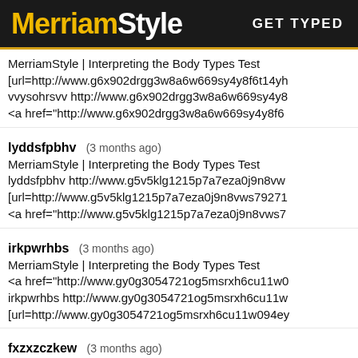MerriamStyle | GET TYPED
MerriamStyle | Interpreting the Body Types Test [url=http://www.g6x902drgg3w8a6w669sy4y8f6t14yh vvysohrsvv http://www.g6x902drgg3w8a6w669sy4y8 <a href="http://www.g6x902drgg3w8a6w669sy4y8f6
lyddsfpbhv (3 months ago) MerriamStyle | Interpreting the Body Types Test lyddsfpbhv http://www.g5v5klg1215p7a7eza0j9n8vw [url=http://www.g5v5klg1215p7a7eza0j9n8vws79271 <a href="http://www.g5v5klg1215p7a7eza0j9n8vws7
irkpwrhbs (3 months ago) MerriamStyle | Interpreting the Body Types Test <a href="http://www.gy0g3054721og5msrxh6cu11w0 irkpwrhbs http://www.gy0g3054721og5msrxh6cu11w [url=http://www.gy0g3054721og5msrxh6cu11w094ey
fxzxzczkew (3 months ago) MerriamStyle | Interpreting the Body Types Test